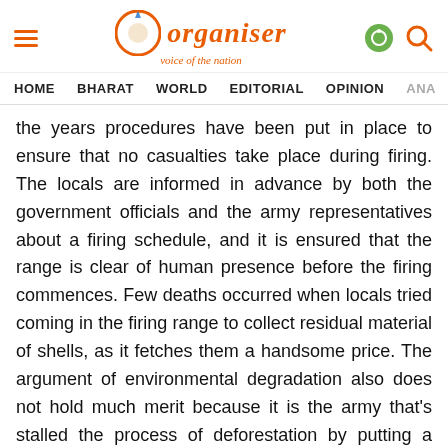Organiser — voice of the nation
HOME   BHARAT   WORLD   EDITORIAL   OPINION   ANA
the years procedures have been put in place to ensure that no casualties take place during firing. The locals are informed in advance by both the government officials and the army representatives about a firing schedule, and it is ensured that the range is clear of human presence before the firing commences. Few deaths occurred when locals tried coming in the firing range to collect residual material of shells, as it fetches them a handsome price. The argument of environmental degradation also does not hold much merit because it is the army that's stalled the process of deforestation by putting a stop to timber smuggling. Hence, the